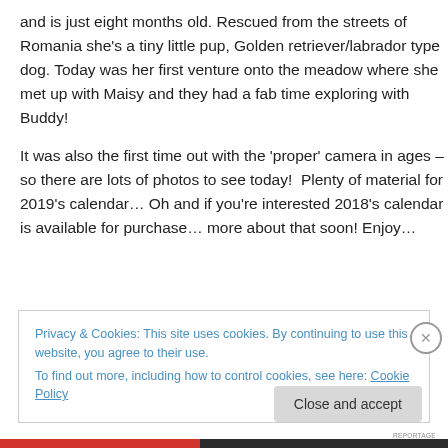and is just eight months old. Rescued from the streets of Romania she's a tiny little pup, Golden retriever/labrador type dog. Today was her first venture onto the meadow where she met up with Maisy and they had a fab time exploring with Buddy!
It was also the first time out with the 'proper' camera in ages – so there are lots of photos to see today!  Plenty of material for 2019's calendar… Oh and if you're interested 2018's calendar is available for purchase… more about that soon! Enjoy…
Privacy & Cookies: This site uses cookies. By continuing to use this website, you agree to their use.
To find out more, including how to control cookies, see here: Cookie Policy